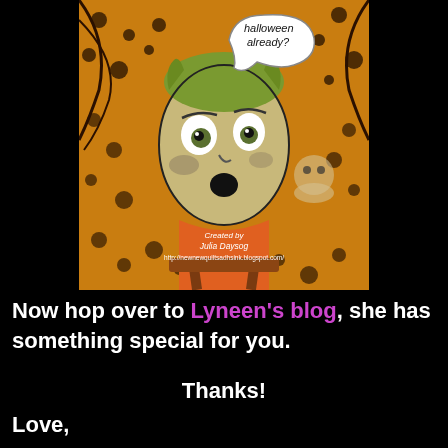[Figure (illustration): Halloween-themed illustrated card showing a wide-eyed cartoon face with green hair against an orange and black patterned background with spooky motifs. A speech bubble reads 'Halloween already?' A brown wooden easel stand is at the bottom. Text overlay reads: 'Created by Julia Daysog http://newnewquiltsadhsink.blogspot.com/']
Now hop over to Lyneen's blog, she has something special for you.
Thanks!
Love,
Julia